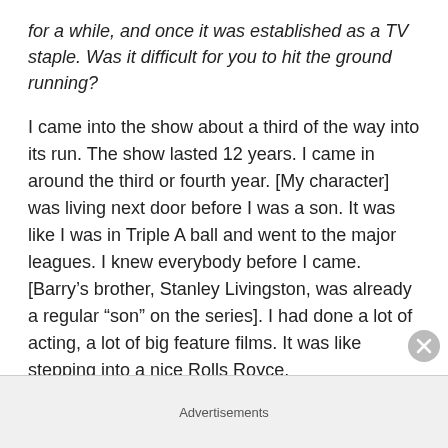for a while, and once it was established as a TV staple. Was it difficult for you to hit the ground running?
I came into the show about a third of the way into its run. The show lasted 12 years. I came in around the third or fourth year. [My character] was living next door before I was a son. It was like I was in Triple A ball and went to the major leagues. I knew everybody before I came. [Barry's brother, Stanley Livingston, was already a regular “son” on the series]. I had done a lot of acting, a lot of big feature films. It was like stepping into a nice Rolls Royce.
During the course of the series’ run [The Sixties], the world — and eventually TV programming itself —  had changed
Advertisements